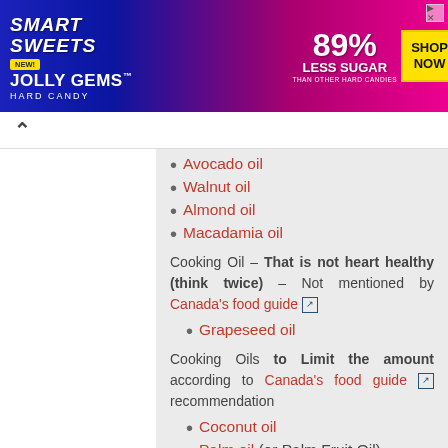[Figure (illustration): SmartSweets Jolly Gems Hard Candy advertisement banner. Blue and pink gradient background. Text: NEW!, SMART SWEETS, JOLLY GEMS Hard Candy, 89% LESS SUGAR THAN OTHER HARD CANDIES, SHOP NOW button.]
Avocado oil
Walnut oil
Almond oil
Macadamia oil
Cooking Oil – That is not heart healthy (think twice) – Not mentioned by Canada's food guide [external link]
Grapeseed oil
Cooking Oils to Limit the amount according to Canada's food guide [external link] recommendation
Coconut oil
Palm oil (or Palm Fruit Oil)
Cooking Fats to Limit the